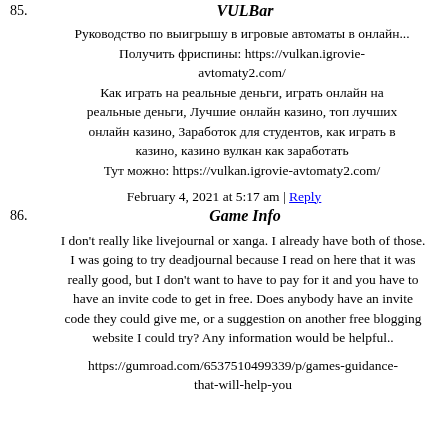85. VULBar
Руководство по выигрышу в игровые автоматы в онлайн...
Получить фриспины: https://vulkan.igrovie-avtomaty2.com/
Как играть на реальные деньги, играть онлайн на реальные деньги, Лучшие онлайн казино, топ лучших онлайн казино, Заработок для студентов, как играть в казино, казино вулкан как заработать
Тут можно: https://vulkan.igrovie-avtomaty2.com/
February 4, 2021 at 5:17 am | Reply
86. Game Info
I don't really like livejournal or xanga. I already have both of those. I was going to try deadjournal because I read on here that it was really good, but I don't want to have to pay for it and you have to have an invite code to get in free. Does anybody have an invite code they could give me, or a suggestion on another free blogging website I could try? Any information would be helpful..
https://gumroad.com/6537510499339/p/games-guidance-that-will-help-you